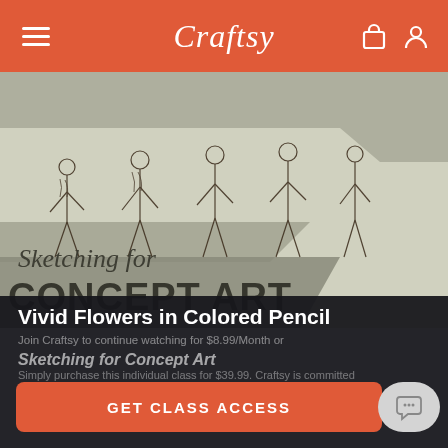Craftsy
[Figure (screenshot): Sketching for Concept Art course thumbnail showing hand-drawn figure sketches of standing human figures in various poses, with a hand holding a pen actively drawing on the right side. Text overlay reads 'Sketching for CONCEPT ART'.]
Vivid Flowers in Colored Pencil
Join Craftsy to continue watching for $8.99/Month or Sketching for Concept Art
Simply purchase this individual class for $39.99. Craftsy is committed to making its website accessible. After enrolling
GET CLASS ACCESS